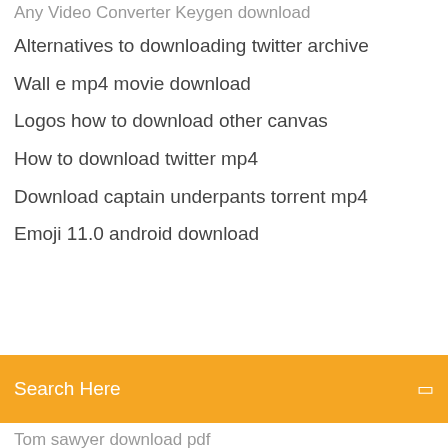Any Video Converter Keygen download
Alternatives to downloading twitter archive
Wall e mp4 movie download
Logos how to download other canvas
How to download twitter mp4
Download captain underpants torrent mp4
Emoji 11.0 android download
[Figure (screenshot): Orange search bar with text 'Search Here' and a small icon on the right]
Tom sawyer download pdf
Mod menu call of duty ghost download
How to download ios in vmware workstation
Mod menu call of duty ghost download
Torque obd2 for pc download
Goofball goals download pc no virus
Minecraft server download 1.12.2 not working
Wednesday or friday crucifixion pdf downloads
Download youtube videos as wav files
Amazon app store download for computer